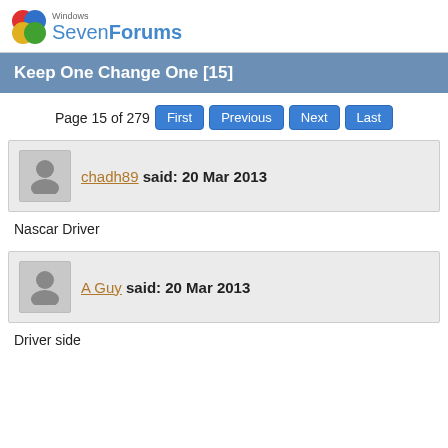[Figure (logo): Windows SevenForums logo with colored circles icon and text]
Keep One Change One [15]
Page 15 of 279  First  Previous  Next  Last
chadh89 said: 20 Mar 2013
Nascar Driver
A Guy said: 20 Mar 2013
Driver side